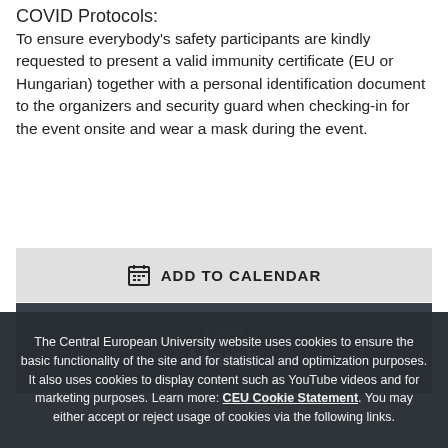COVID Protocols:
To ensure everybody's safety participants are kindly requested to present a valid immunity certificate (EU or Hungarian) together with a personal identification document to the organizers and security guard when checking-in for the event onsite and wear a mask during the event.
[Figure (other): ADD TO CALENDAR button with calendar icon]
Friday
March
The Central European University website uses cookies to ensure the basic functionality of the site and for statistical and optimization purposes. It also uses cookies to display content such as YouTube videos and for marketing purposes. Learn more: CEU Cookie Statement. You may either accept or reject usage of cookies via the following links.